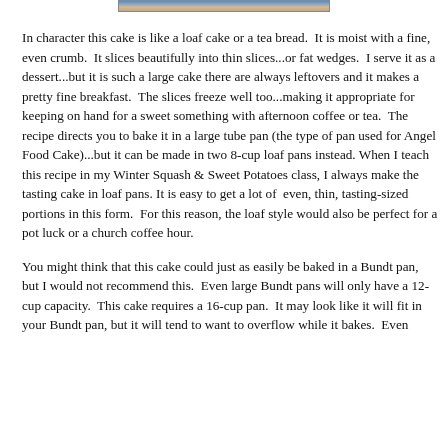[Figure (photo): Partial image visible at top of page, appears to be a food/cake photo with blue and tan tones]
In character this cake is like a loaf cake or a tea bread. It is moist with a fine, even crumb. It slices beautifully into thin slices...or fat wedges. I serve it as a dessert...but it is such a large cake there are always leftovers and it makes a pretty fine breakfast. The slices freeze well too...making it appropriate for keeping on hand for a sweet something with afternoon coffee or tea. The recipe directs you to bake it in a large tube pan (the type of pan used for Angel Food Cake)...but it can be made in two 8-cup loaf pans instead. When I teach this recipe in my Winter Squash & Sweet Potatoes class, I always make the tasting cake in loaf pans. It is easy to get a lot of even, thin, tasting-sized portions in this form. For this reason, the loaf style would also be perfect for a pot luck or a church coffee hour.
You might think that this cake could just as easily be baked in a Bundt pan, but I would not recommend this. Even large Bundt pans will only have a 12-cup capacity. This cake requires a 16-cup pan. It may look like it will fit in your Bundt pan, but it will tend to want to overflow while it bakes. Even